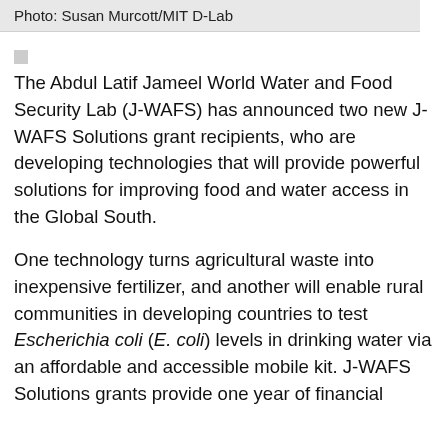Photo: Susan Murcott/MIT D-Lab
[Figure (other): Small grey square icon]
The Abdul Latif Jameel World Water and Food Security Lab (J-WAFS) has announced two new J-WAFS Solutions grant recipients, who are developing technologies that will provide powerful solutions for improving food and water access in the Global South.
One technology turns agricultural waste into inexpensive fertilizer, and another will enable rural communities in developing countries to test Escherichia coli (E. coli) levels in drinking water via an affordable and accessible mobile kit. J-WAFS Solutions grants provide one year of financial